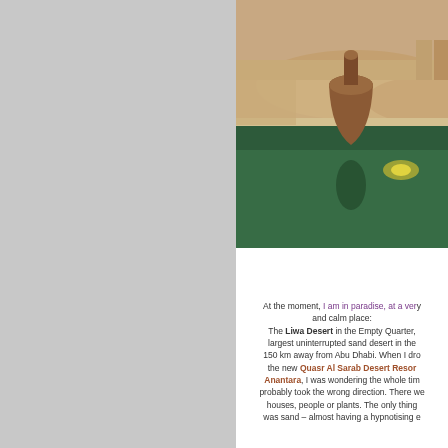[Figure (photo): A desert resort pool at dusk with a large clay/terracotta pot, illuminated green water, and sandy desert dunes in the background]
At the moment, I am in paradise, at a very calm place: The Liwa Desert in the Empty Quarter, largest uninterrupted sand desert in the world, 150 km away from Abu Dhabi. When I drove to the new Quasr Al Sarab Desert Resort by Anantara, I was wondering the whole time if I probably took the wrong direction. There were no houses, people or plants. The only thing visible was sand – almost having a hypnotising e